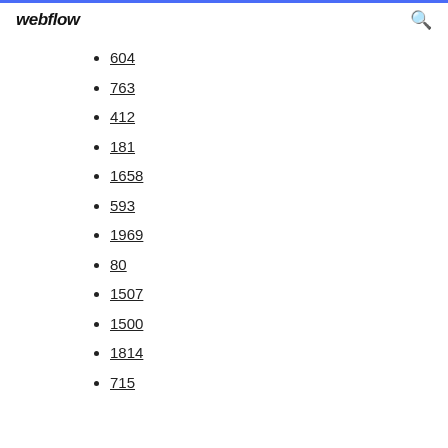webflow
604
763
412
181
1658
593
1969
80
1507
1500
1814
715